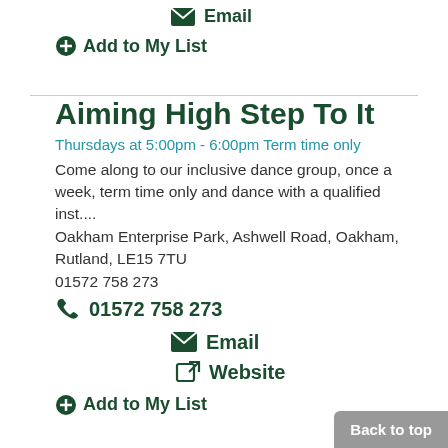Email
Add to My List
Aiming High Step To It
Thursdays at 5:00pm - 6:00pm Term time only
Come along to our inclusive dance group, once a week, term time only and dance with a qualified inst....
Oakham Enterprise Park, Ashwell Road, Oakham, Rutland, LE15 7TU
01572 758 273
01572 758 273
Email
Website
Add to My List
Back to top